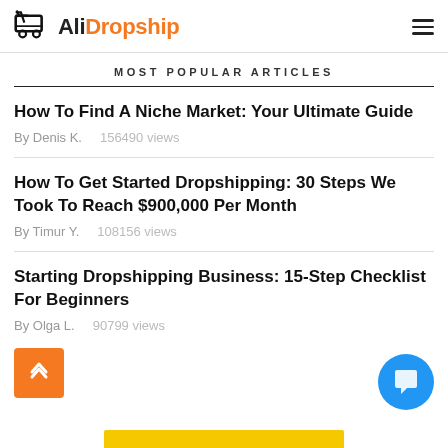AliDropship
MOST POPULAR ARTICLES
How To Find A Niche Market: Your Ultimate Guide
By Denis K.    156490 views
How To Get Started Dropshipping: 30 Steps We Took To Reach $900,000 Per Month
By Timur Y.    108156 views
Starting Dropshipping Business: 15-Step Checklist For Beginners
By Olga L.    90799 views